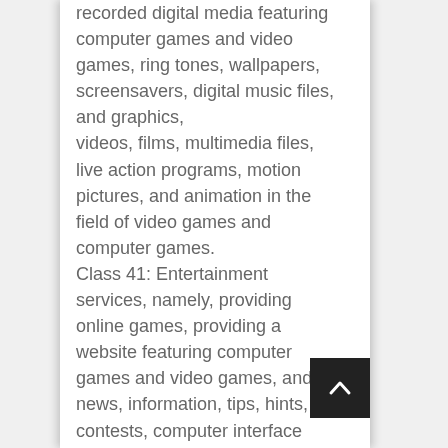recorded digital media featuring computer games and video games, ring tones, wallpapers, screensavers, digital music files, and graphics, videos, films, multimedia files, live action programs, motion pictures, and animation in the field of video games and computer games. Class 41: Entertainment services, namely, providing online games, providing a website featuring computer games and video games, and news, information, tips, hints, contests, computer interface themes, enhancements, audio-visual content, music, films, videos, television